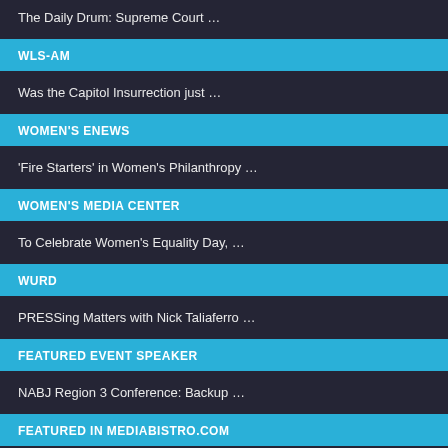The Daily Drum: Supreme Court …
WLS-AM
Was the Capitol Insurrection just …
WOMEN'S ENEWS
'Fire Starters' in Women's Philanthropy …
WOMEN'S MEDIA CENTER
To Celebrate Women's Equality Day, …
WURD
PRESSing Matters with Nick Taliaferro …
FEATURED EVENT SPEAKER
NABJ Region 3 Conference: Backup …
FEATURED IN MEDIABISTRO.COM